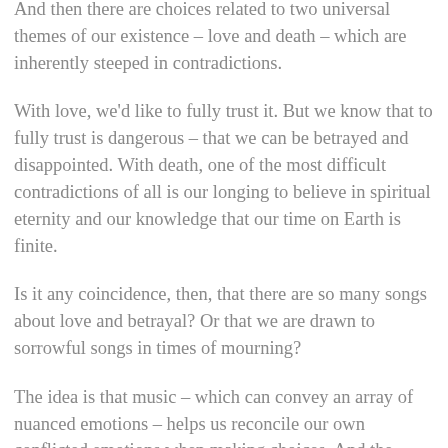And then there are choices related to two universal themes of our existence – love and death – which are inherently steeped in contradictions.
With love, we'd like to fully trust it. But we know that to fully trust is dangerous – that we can be betrayed and disappointed. With death, one of the most difficult contradictions of all is our longing to believe in spiritual eternity and our knowledge that our time on Earth is finite.
Is it any coincidence, then, that there are so many songs about love and betrayal? Or that we are drawn to sorrowful songs in times of mourning?
The idea is that music – which can convey an array of nuanced emotions – helps us reconcile our own conflicted emotions when making choices. And the